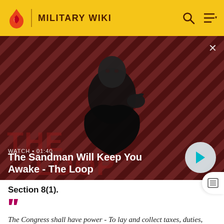MILITARY WIKI
[Figure (screenshot): Video thumbnail showing a person in dark clothing with a crow/raven on their shoulder against a red diagonal striped background. Shows 'WATCH • 01:40' and title 'The Sandman Will Keep You Awake - The Loop' with a play button.]
Section 8(1).
The Congress shall have power - To lay and collect taxes, duties, imposts, and excises for revenue, necessary to pay the debts, provide for the common